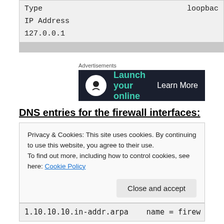| Type | loopbac... |
| --- | --- |
| IP Address |  |
| 127.0.0.1 |  |
[Figure (other): Advertisements banner: 'Launch your online' with 'Learn More' button on dark background]
DNS entries for the firewall interfaces:
Privacy & Cookies: This site uses cookies. By continuing to use this website, you agree to their use.
To find out more, including how to control cookies, see here: Cookie Policy
1.10.10.10.in-addr.arpa    name = firew